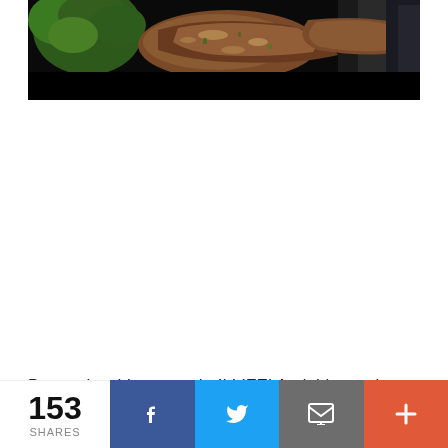[Figure (photo): Close-up photo of grilled meat with broccoli in a dark pan, partially cropped at top]
Baaaaaby, this sauce tho!! LIFE! And this meal would be
153 SHARES | Facebook | Twitter | Email | More